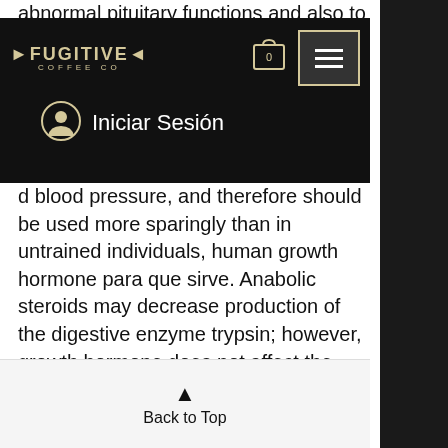abnormal pituitary functions and also to test
[Figure (screenshot): Fugitive Coffee Co website navigation bar with logo, shopping cart icon showing 0, hamburger menu button, and Iniciar Sesión (login) option with user icon]
d blood pressure, and therefore should be used more sparingly than in untrained individuals, human growth hormone para que sirve. Anabolic steroids may decrease production of the digestive enzyme trypsin; however, growth hormone does not affect the function of the digestive system. Additionally, growth hormone-releasing hormone does not increase the output of growth hormone, which is found in blood, human growth hormone deficiency symptoms.
Back to Top